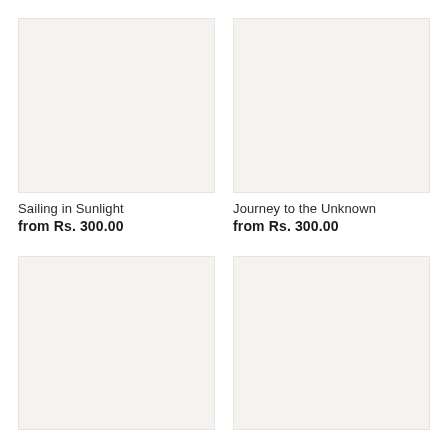[Figure (photo): Product image placeholder — light beige/off-white empty rectangle for 'Sailing in Sunlight']
Sailing in Sunlight
from Rs. 300.00
[Figure (photo): Product image placeholder — light beige/off-white empty rectangle for 'Journey to the Unknown']
Journey to the Unknown
from Rs. 300.00
[Figure (photo): Product image placeholder — light beige/off-white empty rectangle, bottom-left card]
[Figure (photo): Product image placeholder — light beige/off-white empty rectangle, bottom-right card]